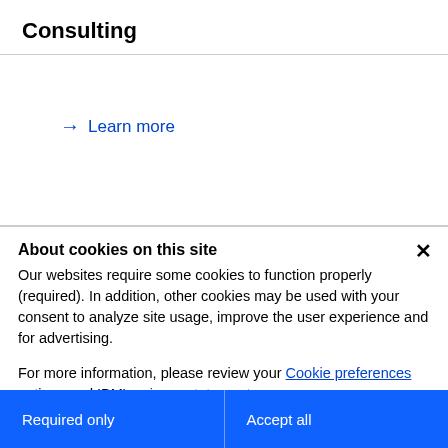Consulting
→ Learn more
About cookies on this site
Our websites require some cookies to function properly (required). In addition, other cookies may be used with your consent to analyze site usage, improve the user experience and for advertising.
For more information, please review your Cookie preferences options and IBM's privacy statement.
Required only
Accept all